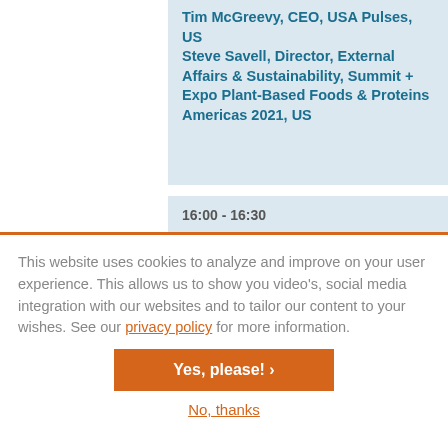Tim McGreevy, CEO, USA Pulses, US
Steve Savell, Director, External Affairs & Sustainability, Summit + Expo Plant-Based Foods & Proteins Americas 2021, US
16:00 - 16:30
This website uses cookies to analyze and improve on your user experience. This allows us to show you video's, social media integration with our websites and to tailor our content to your wishes. See our privacy policy for more information.
Yes, please! >
No, thanks